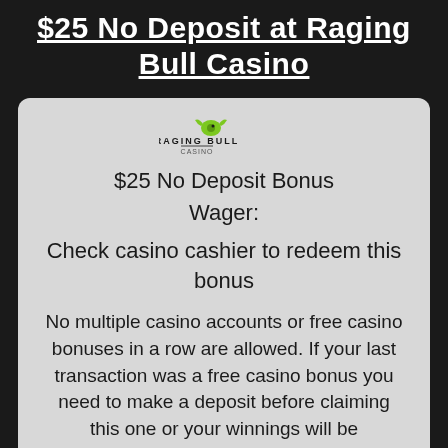$25 No Deposit at Raging Bull Casino
[Figure (logo): Raging Bull Casino logo with green bull icon and text]
$25 No Deposit Bonus
Wager:
Check casino cashier to redeem this bonus
No multiple casino accounts or free casino bonuses in a row are allowed. If your last transaction was a free casino bonus you need to make a deposit before claiming this one or your winnings will be considered void and you will not be able